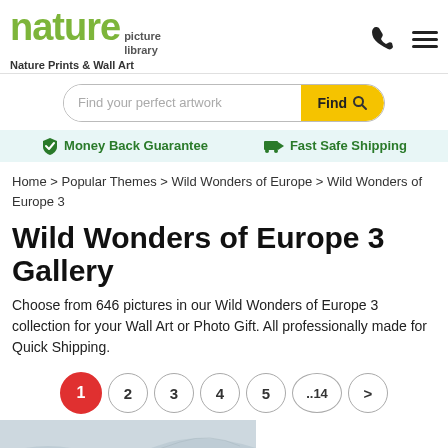[Figure (logo): Nature Picture Library logo with green 'nature' text and 'picture library' subtitle]
Nature Prints & Wall Art
[Figure (other): Search bar with 'Find your perfect artwork' placeholder and yellow 'Find' button with magnifying glass icon]
Money Back Guarantee   Fast Safe Shipping
Home > Popular Themes > Wild Wonders of Europe > Wild Wonders of Europe 3
Wild Wonders of Europe 3 Gallery
Choose from 646 pictures in our Wild Wonders of Europe 3 collection for your Wall Art or Photo Gift. All professionally made for Quick Shipping.
1  2  3  4  5  ..14  >
[Figure (photo): Partial view of a nature photograph at the bottom of the page]